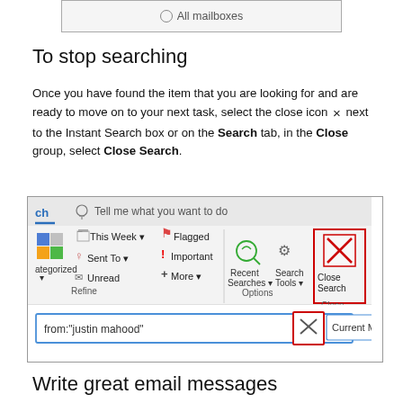[Figure (screenshot): Partial screenshot showing a radio button option labeled 'All mailboxes']
To stop searching
Once you have found the item that you are looking for and are ready to move on to your next task, select the close icon × next to the Instant Search box or on the Search tab, in the Close group, select Close Search.
[Figure (screenshot): Screenshot of Microsoft Outlook Search tab ribbon showing options: This Week, Flagged, Sent To, Important, Unread, More, Recent Searches, Search Tools, and Close Search button highlighted with red border. Below is a search box with 'from:"justin mahood"' and an X button highlighted with red border, and Current Mailbox dropdown.]
Write great email messages